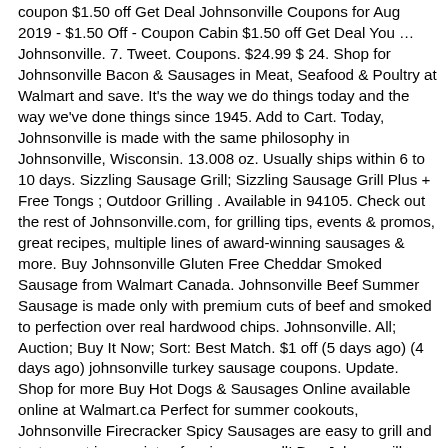coupon $1.50 off Get Deal Johnsonville Coupons for Aug 2019 - $1.50 Off - Coupon Cabin $1.50 off Get Deal You … Johnsonville. 7. Tweet. Coupons. $24.99 $ 24. Shop for Johnsonville Bacon & Sausages in Meat, Seafood & Poultry at Walmart and save. It's the way we do things today and the way we've done things since 1945. Add to Cart. Today, Johnsonville is made with the same philosophy in Johnsonville, Wisconsin. 13.008 oz. Usually ships within 6 to 10 days. Sizzling Sausage Grill; Sizzling Sausage Grill Plus + Free Tongs ; Outdoor Grilling . Available in 94105. Check out the rest of Johnsonville.com, for grilling tips, events & promos, great recipes, multiple lines of award-winning sausages & more. Buy Johnsonville Gluten Free Cheddar Smoked Sausage from Walmart Canada. Johnsonville Beef Summer Sausage is made only with premium cuts of beef and smoked to perfection over real hardwood chips. Johnsonville. All; Auction; Buy It Now; Sort: Best Match. $1 off (5 days ago) (4 days ago) johnsonville turkey sausage coupons. Update. Shop for more Buy Hot Dogs & Sausages Online available online at Walmart.ca Perfect for summer cookouts, Johnsonville Firecracker Spicy Sausages are easy to grill and taste great in a variety of recipes as well! Buy Johnsonville Original Breakfast Sausage from Walmart Canada. Only 7 left in stock - order soon. Johnsonville Cheddar Turkey Smoked Sausage - 13.5oz. Great Alternative to Bacon! Container Type: ZIP PAK. Tweet. Walmart /